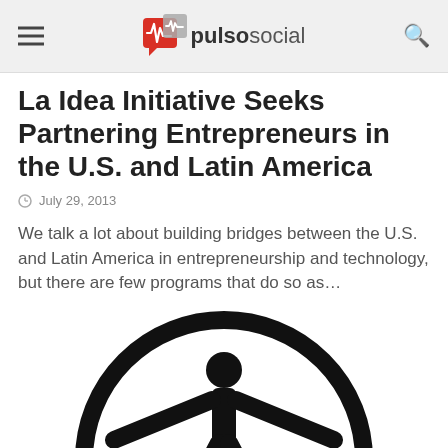pulsosocial
La Idea Initiative Seeks Partnering Entrepreneurs in the U.S. and Latin America
July 29, 2013
We talk a lot about building bridges between the U.S. and Latin America in entrepreneurship and technology, but there are few programs that do so as…
[Figure (illustration): Black silhouette of a person with arms outstretched inside a circle, symbolizing outreach or partnership]